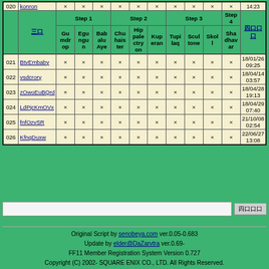| No. | 三口 | Gu mdr op | Egu ngu n | Bab alu Aye | Chu hais ter | Hip pale ctry on | Kup eran | Tupi laq | Scul tone | Skol l | Sha dhav ar | 四口口口 |
| --- | --- | --- | --- | --- | --- | --- | --- | --- | --- | --- | --- | --- |
| 020 | konron | × | × | × | × | × | × | × | × | × | × | 14:23 |
| 021 | BtvEmbaby | × | × | × | × | × | × | × | × | × | × | 18/01/26 09:25 |
| 022 | vsdcrory | × | × | × | × | × | × | × | × | × | × | 18/04/14 03:57 |
| 023 | zOwoEuBQrd | × | × | × | × | × | × | × | × | × | × | 18/04/28 19:13 |
| 024 | LdPjcKmOVx | × | × | × | × | × | × | × | × | × | × | 18/04/29 07:40 |
| 025 | fnfOzvSR | × | × | × | × | × | × | × | × | × | × | 21/10/08 02:54 |
| 026 | KfnqDuxw | × | × | × | × | × | × | × | × | × | × | 22/06/27 13:08 |
Original Script by senobeya.com ver.0.05-0.683 Update by elder@DaZarvtra ver.0.69- FF11 Member Registration System Version 0.727 Copyright (C) 2002- SQUARE ENIX CO., LTD. All Rights Reserved.